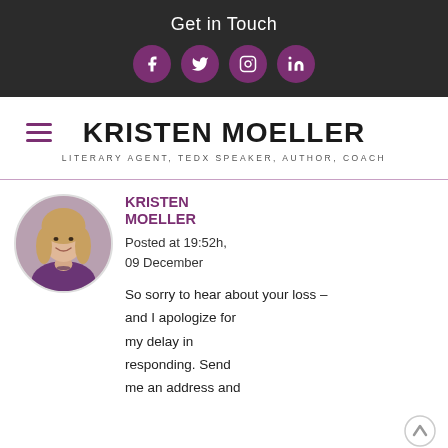Get in Touch
[Figure (logo): Social media icons: Facebook, Twitter, Instagram, LinkedIn — white icons on purple circular backgrounds]
KRISTEN MOELLER
Literary Agent, TEDx Speaker, Author, Coach
[Figure (photo): Round profile photo of Kristen Moeller, a smiling woman with long blonde hair]
KRISTEN MOELLER
Posted at 19:52h, 09 December

So sorry to hear about your loss – and I apologize for my delay in responding. Send me an address and